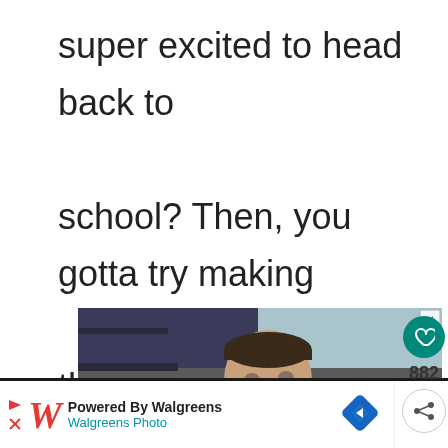super excited to head back to school? Then, you gotta try making this back to school countdown bus craft!
[Figure (photo): A young boy in a classroom looking at the camera with his hand near his mouth, with 'You can help' text overlay at the bottom]
Powered By Walgreens
Walgreens Photo